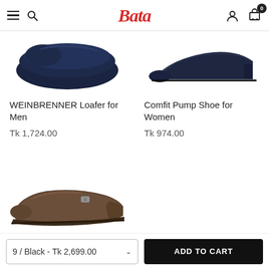Bata - navigation header with hamburger menu, search, logo, user icon, cart (0)
[Figure (photo): Cropped top portion of WEINBRENNER Loafer for Men shoe (dark navy/black leather loafer, top view cropped)]
[Figure (photo): Cropped top portion of Comfit Pump Shoe for Women (dark navy/black pump shoe, side profile cropped)]
WEINBRENNER Loafer for Men
Tk 1,724.00
Comfit Pump Shoe for Women
Tk 974.00
[Figure (photo): Brown leather loafer with metal buckle detail, side profile view]
[Figure (photo): Black leather moccasin/loafer, side profile view]
9 / Black - Tk 2,699.00
ADD TO CART